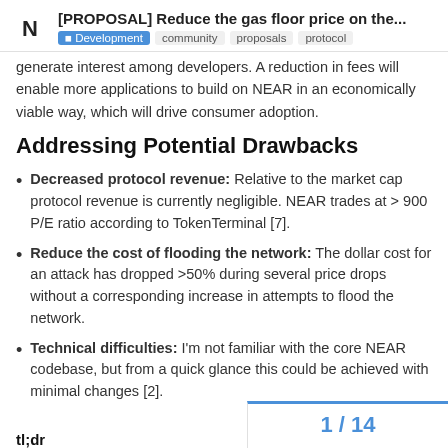[PROPOSAL] Reduce the gas floor price on the... | Development community proposals protocol
generate interest among developers. A reduction in fees will enable more applications to build on NEAR in an economically viable way, which will drive consumer adoption.
Addressing Potential Drawbacks
Decreased protocol revenue: Relative to the market cap protocol revenue is currently negligible. NEAR trades at > 900 P/E ratio according to TokenTerminal [7].
Reduce the cost of flooding the network: The dollar cost for an attack has dropped >50% during several price drops without a corresponding increase in attempts to flood the network.
Technical difficulties: I'm not familiar with the core NEAR codebase, but from a quick glance this could be achieved with minimal changes [2].
1 / 14
tl;dr